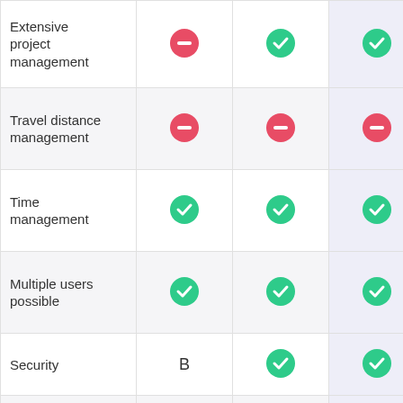| Feature | Col1 | Col2 | Col3 |
| --- | --- | --- | --- |
| Extensive project management | minus | check | check |
| Travel distance management | minus | minus | minus |
| Time management | check | check | check |
| Multiple users possible | check | check | check |
| Security | B | check | check |
| GDPR | check | check | check |
Start your free CoManage trial